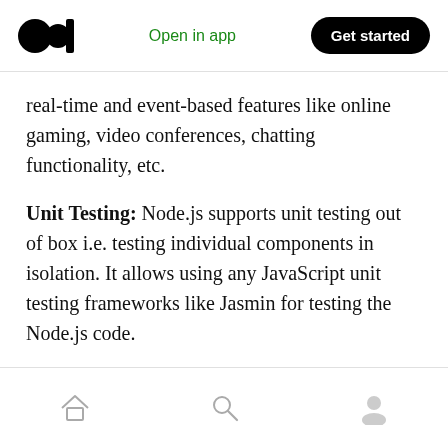Open in app | Get started
real-time and event-based features like online gaming, video conferences, chatting functionality, etc.
Unit Testing: Node.js supports unit testing out of box i.e. testing individual components in isolation. It allows using any JavaScript unit testing frameworks like Jasmin for testing the Node.js code.
REST API Support: Building RESTful API is possible with the use of Node.js.
Home | Search | Profile